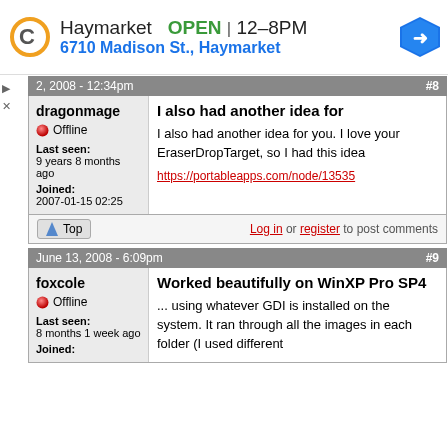[Figure (infographic): Advertisement banner for Haymarket store showing logo, OPEN status, hours 12-8PM, address 6710 Madison St., Haymarket, and navigation arrow icon]
June 12, 2008 - 12:34pm #8
dragonmage
Offline
Last seen: 9 years 8 months ago
Joined: 2007-01-15 02:25
I also had another idea for
I also had another idea for you. I love your EraserDropTarget, so I had this idea
https://portableapps.com/node/13535
Log in or register to post comments
June 13, 2008 - 6:09pm #9
foxcole
Offline
Last seen: 8 months 1 week ago
Joined:
Worked beautifully on WinXP Pro SP4
... using whatever GDI is installed on the system. It ran through all the images in each folder (I used different